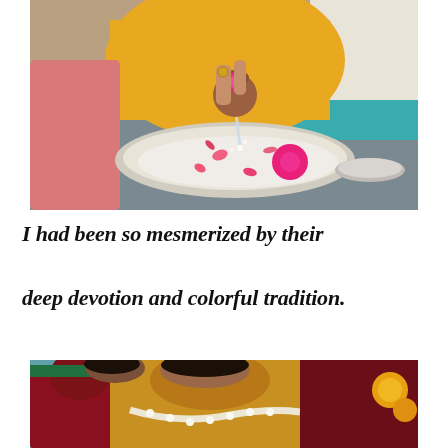[Figure (photo): Close-up photograph of an Indian religious/wedding ritual: a person in yellow clothing pours water from a small clay pot into a large silver thali (plate) filled with milk or water and pink flowers (roses and petals). Another person in pink is partially visible in the foreground.]
I had been so mesmerized by their deep devotion and colorful tradition.
[Figure (photo): Photograph of people in colorful Indian traditional attire (sarees in gold/yellow and dark red/maroon) wearing white flower garlands (jasmine), bowing their heads during a ceremony. Marigold flowers visible on the right.]